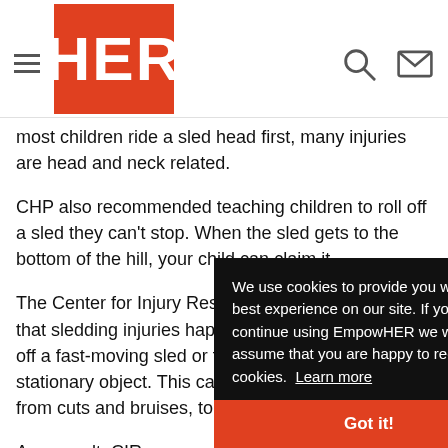HER
most children ride a sled head first, many injuries are head and neck related.
CHP also recommended teaching children to roll off a sled they can't stop. When the sled gets to the bottom of the hill, your child can claim it.
The Center for Injury Research and Policy reported that sledding injuries happen when a child is thrown off a fast-moving sled or the sled slams into a stationary object. This can result in injuries ranging from cuts and bruises, to broken bones, t [obscured by cookie banner]
As a result, CIR [obscured] sled they can s[obscured] Parents can tea[obscured]
It can be a fun challenge for kids to learn to steer and stop
We use cookies to provide you with the best experience on our site. If you continue using EmpowHER we will assume that you are happy to receive cookies. Learn more
Got it!